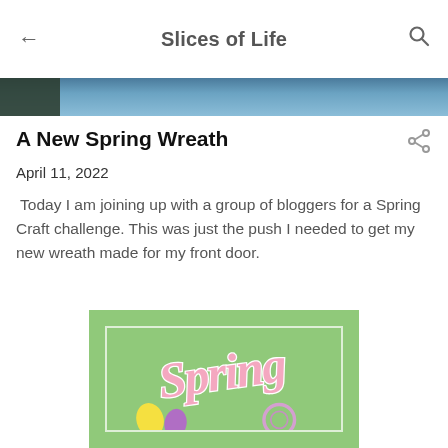Slices of Life
[Figure (photo): Banner photo of outdoor scene with dark foliage on left and blue sky]
A New Spring Wreath
April 11, 2022
Today I am joining up with a group of bloggers for a Spring Craft challenge. This was just the push I needed to get my new wreath made for my front door.
[Figure (photo): Green spring card image with decorative script text 'Spring', Easter eggs, and a floral wreath at the bottom]